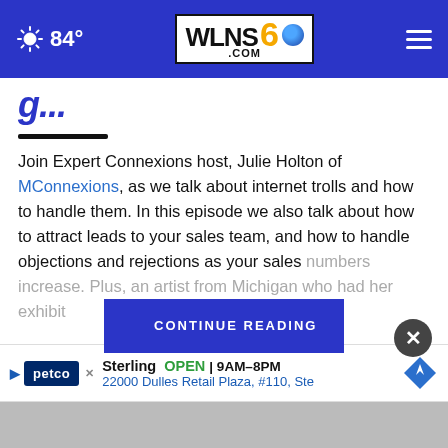WLNS 6 .COM — 84°
(partial article title — cropped)
Join Expert Connexions host, Julie Holton of MConnexions, as we talk about internet trolls and how to handle them. In this episode we also talk about how to attract leads to your sales team, and how to handle objections and rejections as your sales numbers increase. Plus, an artist from Michigan who had her exhibit
CONTINUE READING
Sterling  OPEN | 9AM–8PM  22000 Dulles Retail Plaza, #110, Ste